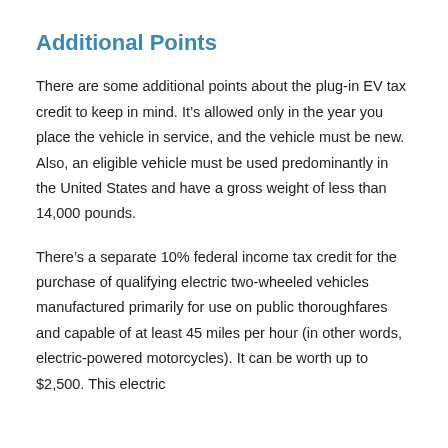Additional Points
There are some additional points about the plug-in EV tax credit to keep in mind. It’s allowed only in the year you place the vehicle in service, and the vehicle must be new. Also, an eligible vehicle must be used predominantly in the United States and have a gross weight of less than 14,000 pounds.
There’s a separate 10% federal income tax credit for the purchase of qualifying electric two-wheeled vehicles manufactured primarily for use on public thoroughfares and capable of at least 45 miles per hour (in other words, electric-powered motorcycles). It can be worth up to $2,500. This electric